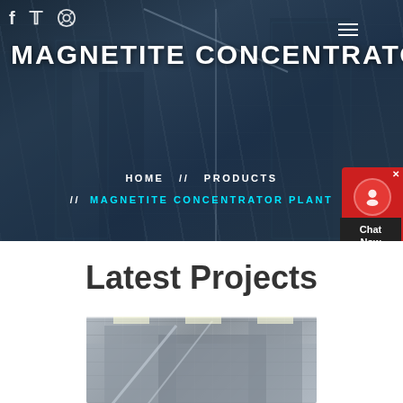[Figure (photo): Hero banner with construction site background showing buildings under construction with cranes, dark blue overlay]
MAGNETITE CONCENTRATOR PL
HOME // PRODUCTS // MAGNETITE CONCENTRATOR PLANT
Latest Projects
[Figure (photo): Industrial machinery photo showing magnetite concentrator plant equipment]